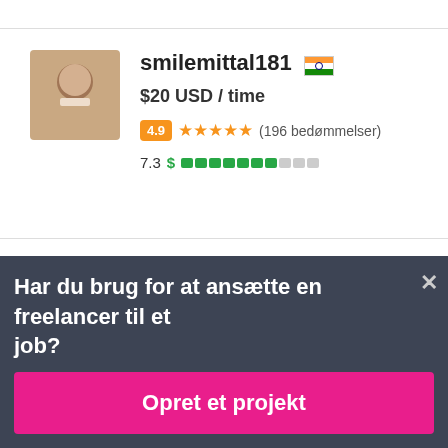smilemittal181 🇮🇳
$20 USD / time
4.9 ★★★★★ (196 bedømmelser)
7.3 $ ▓▓▓▓▓▓▓░░░
niceDev 🇺🇦
Har du brug for at ansætte en freelancer til et job?
Opret et projekt